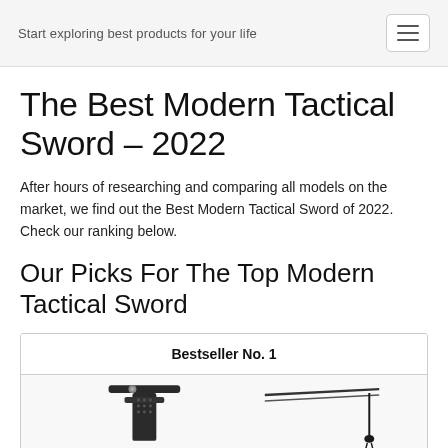Start exploring best products for your life
The Best Modern Tactical Sword – 2022
After hours of researching and comparing all models on the market, we find out the Best Modern Tactical Sword of 2022. Check our ranking below.
Our Picks For The Top Modern Tactical Sword
Bestseller No. 1
[Figure (photo): Product photo of a modern tactical sword showing guard and blade components]